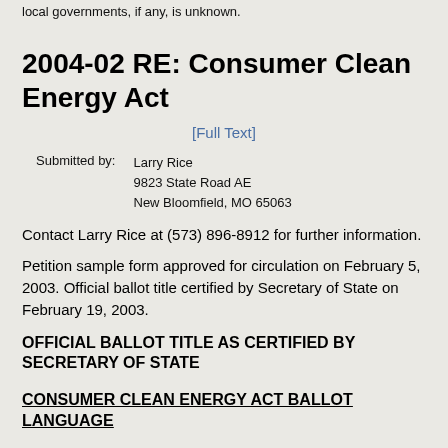local governments, if any, is unknown.
2004-02 RE: Consumer Clean Energy Act
[Full Text]
| Submitted by: | Larry Rice
9823 State Road AE
New Bloomfield, MO 65063 |
Contact Larry Rice at (573) 896-8912 for further information.
Petition sample form approved for circulation on February 5, 2003. Official ballot title certified by Secretary of State on February 19, 2003.
OFFICIAL BALLOT TITLE AS CERTIFIED BY SECRETARY OF STATE
CONSUMER CLEAN ENERGY ACT BALLOT LANGUAGE